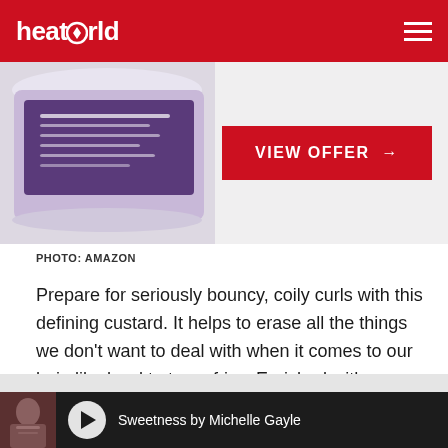heatworld
[Figure (photo): Purple jar of hair defining custard product, partially visible, with a red VIEW OFFER button to the right]
PHOTO: AMAZON
Prepare for seriously bouncy, coily curls with this defining custard. It helps to erase all the things we don't want to deal with when it comes to our hair, like hard to tame frizz. Enriched with nourishing ingredients including shea butter and olive oil, it gives your hair the care it deserves.
[Figure (screenshot): Music player bar at bottom showing album art thumbnail, play button, and song title: Sweetness by Michelle Gayle]